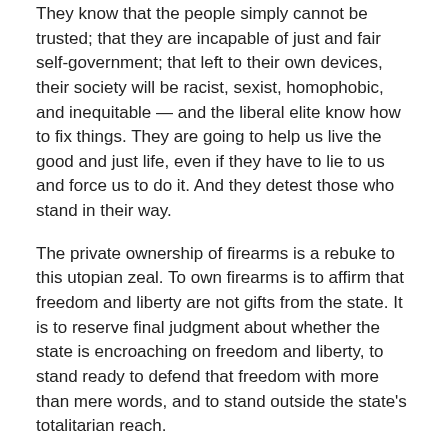They know that the people simply cannot be trusted; that they are incapable of just and fair self-government; that left to their own devices, their society will be racist, sexist, homophobic, and inequitable — and the liberal elite know how to fix things. They are going to help us live the good and just life, even if they have to lie to us and force us to do it. And they detest those who stand in their way.
The private ownership of firearms is a rebuke to this utopian zeal. To own firearms is to affirm that freedom and liberty are not gifts from the state. It is to reserve final judgment about whether the state is encroaching on freedom and liberty, to stand ready to defend that freedom with more than mere words, and to stand outside the state's totalitarian reach.
The Florida Experience
The elitist distrust of the people underlying the gun control